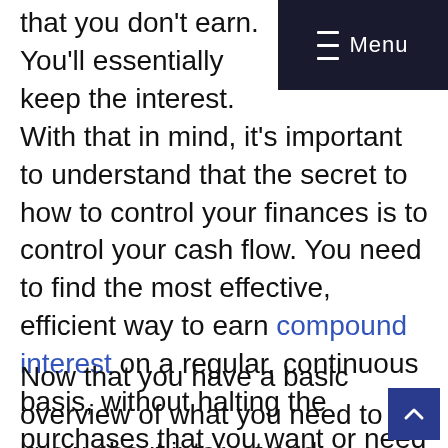that you don't earn. You'll essentially keep the interest.
Menu
With that in mind, it's important to understand that the secret to how to control your finances is to control your cash flow. You need to find the most effective, efficient way to earn compound interest on a regular, continuous basis, without halting the purchases that you want or need to make.
Now that you have a basic overview of what you need to know about interest and payments, let's talk about how